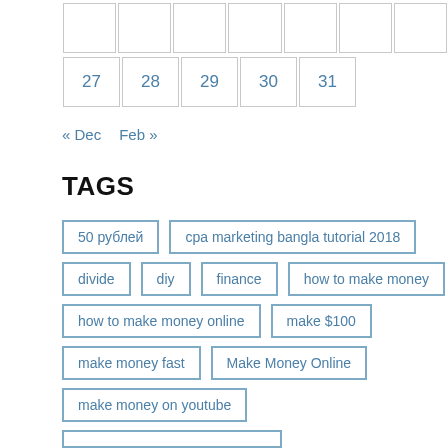| 27 | 28 | 29 | 30 | 31 |  |  |
« Dec  Feb »
TAGS
50 рублей
cpa marketing bangla tutorial 2018
divide
diy
finance
how to make money
how to make money online
make $100
make money fast
Make Money Online
make money on youtube